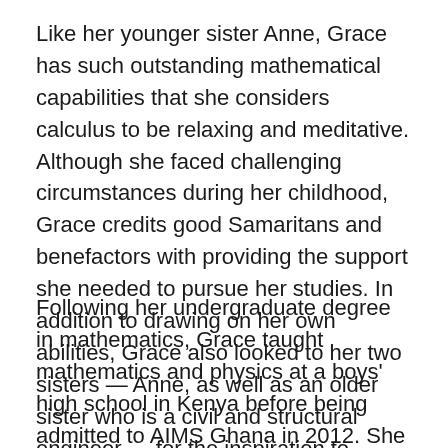Like her younger sister Anne, Grace has such outstanding mathematical capabilities that she considers calculus to be relaxing and meditative. Although she faced challenging circumstances during her childhood, Grace credits good Samaritans and benefactors with providing the support she needed to pursue her studies. In addition to drawing on her own abilities, Grace also looked to her two sisters — Anne, as well as an older sister who is a civil and structural engineer — for the inspiration to persevere in a male-dominated field.
Following her undergraduate degree in mathematics, Grace taught mathematics and physics at a boys' high school in Kenya before being admitted to AIMS Ghana in 2012. She later obtained a post-AIMS bursary to complete an MPhil in Mathematics at the University of